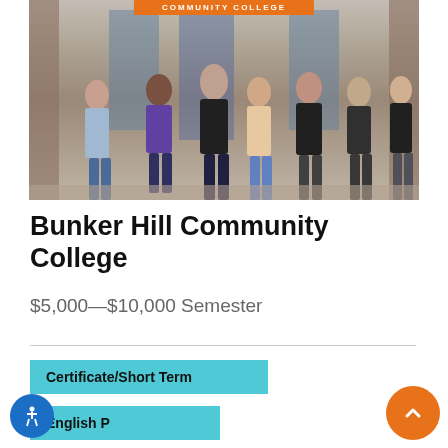[Figure (photo): Students walking out of a community college building entrance with an orange sign reading COMMUNITY COLLEGE]
Bunker Hill Community College
$5,000—$10,000 Semester
Certificate/Short Term
English P...